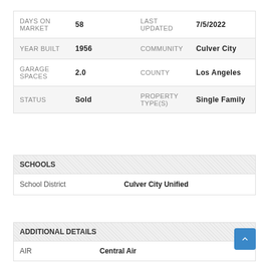| Label | Value | Label2 | Value2 |
| --- | --- | --- | --- |
| DAYS ON MARKET | 58 | LAST UPDATED | 7/5/2022 |
| YEAR BUILT | 1956 | COMMUNITY | Culver City |
| GARAGE SPACES | 2.0 | COUNTY | Los Angeles |
| STATUS | Sold | PROPERTY TYPE(S) | Single Family |
SCHOOLS
| Label | Value |
| --- | --- |
| School District | Culver City Unified |
ADDITIONAL DETAILS
| Label | Value |
| --- | --- |
| AIR | Central Air |